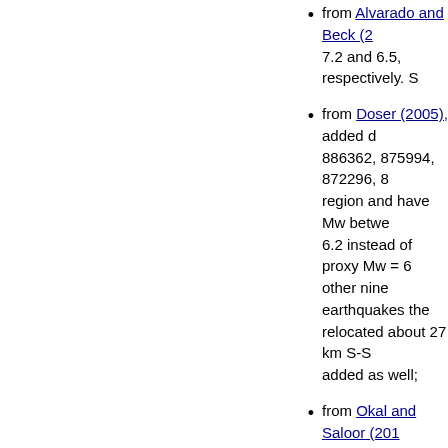from Alvarado and Beck (2... 7.2 and 6.5, respectively. S
from Doser (2005), added d... 886362, 875994, 872296, 8... region and have Mw betwe... 6.2 instead of proxy Mw = 6... other nine earthquakes the... relocated about 27 km S-S... added as well;
from Okal and Saloor (201... instead of direct Mw = 7.0 f... have been revised followin... about 60 km NNE from pre... epicentre about 68 km to th
from Doser (1990), evid 89... well;
from Başarır Baştürk et al.... from North (1977). Evid 904... proxy Mw = 6.37 and 6.35,
from Melis et al. (2020), ev... mechanisms added as well
from Doser et al. (1999), ac... 870100, 870148, 868333, 8... 792985, 757785, 756140, 7... 868951 (direct Mw = 6.4 ins... 5.90) and evid 867811 (dire